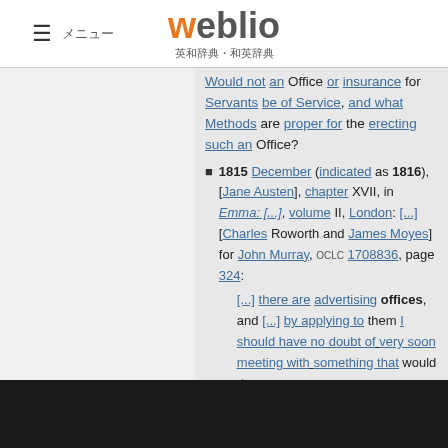weblio 英和辞典・和英辞典
Would not an Office or insurance for Servants be of Service, and what Methods are proper for the erecting such an Office?
1815 December (indicated as 1816), [Jane Austen], chapter XVII, in Emma: [...], volume II, London: [...] [Charles Roworth and James Moyes] for John Murray, OCLC 1708836, page 324: [...] there are advertising offices, and [...] by applying to them I should have no doubt of very soon meeting with something that would do.
1860 December – 1861 August, Charles Dickens, chapter XII, in Great Expectations [...], volume II, London: Chapman and Hall, [...], published October 1861, OCLC 3359935, page 224: